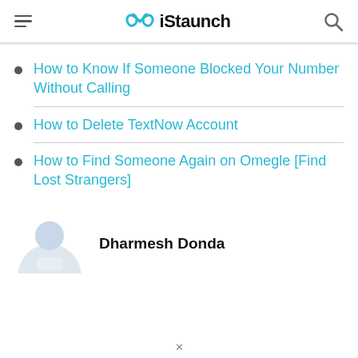iStaunch
How to Know If Someone Blocked Your Number Without Calling
How to Delete TextNow Account
How to Find Someone Again on Omegle [Find Lost Strangers]
Dharmesh Donda